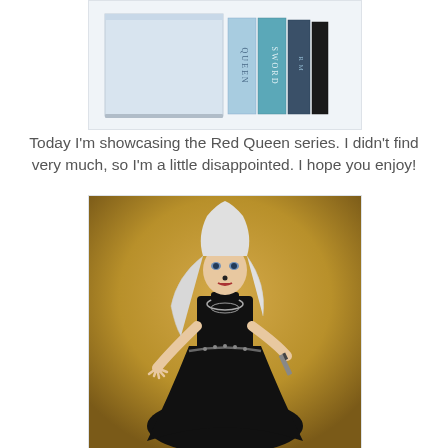[Figure (illustration): A box set of the Red Queen book series. Three visible book spines in light blue and teal colors with text QUEEN, SWORD, and R M visible, plus a light gray/blue slipcase box.]
Today I'm showcasing the Red Queen series. I didn't find very much, so I'm a little disappointed. I hope you enjoy!
[Figure (illustration): Fan art illustration of a woman with white/silver hair wearing a black sleeveless dress with a chain belt, holding a knife, posed dynamically against a gold/brown gradient background.]